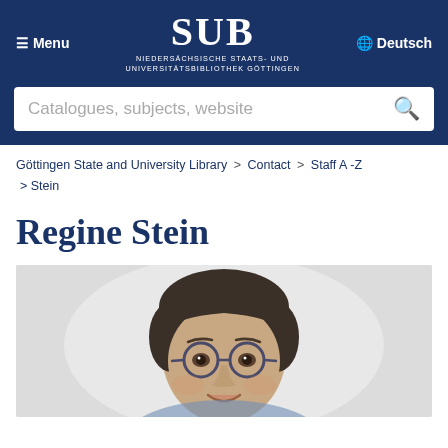≡ Menu | SUB NIEDERSÄCHSISCHE STAATS- UND UNIVERSITÄTSBIBLIOTHEK GÖTTINGEN | 🌐 Deutsch
Catalogues, subjects, website
Göttingen State and University Library > Contact > Staff A -Z > Stein
Regine Stein
[Figure (photo): Portrait photo of Regine Stein, a woman with short dark hair and round glasses, smiling, against a light grey background]